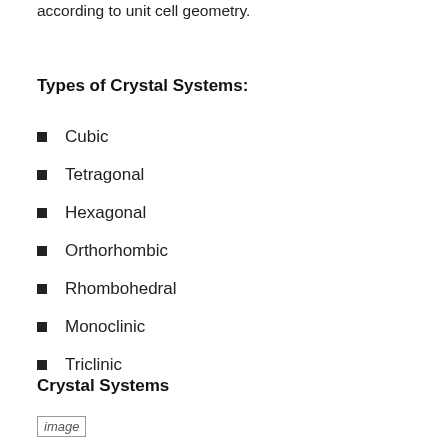according to unit cell geometry.
Types of Crystal Systems:
Cubic
Tetragonal
Hexagonal
Orthorhombic
Rhombohedral
Monoclinic
Triclinic
Crystal Systems
[Figure (photo): Image placeholder for crystal systems diagram]